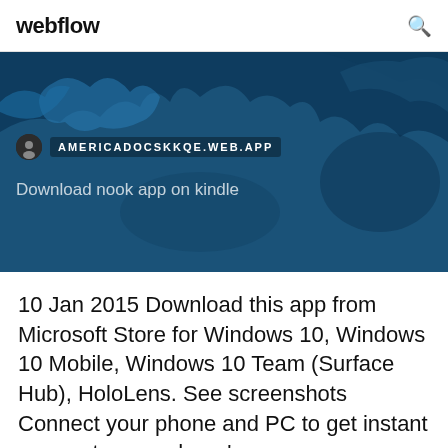webflow
[Figure (screenshot): Blue banner with world map background showing a URL bar with icon reading AMERICADOCSKKQE.WEB.APP and subtitle text 'Download nook app on kindle']
10 Jan 2015 Download this app from Microsoft Store for Windows 10, Windows 10 Mobile, Windows 10 Team (Surface Hub), HoloLens. See screenshots  Connect your phone and PC to get instant access to your phone's